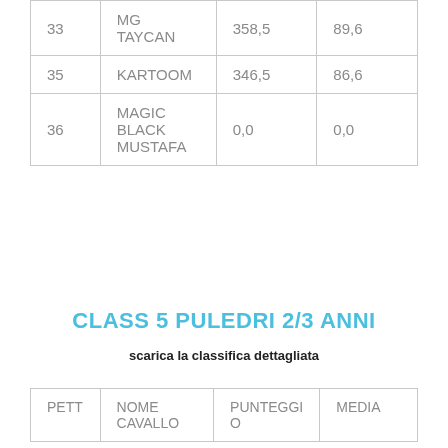| PETT | NOME CAVALLO | PUNTEGGIO | MEDIA |
| --- | --- | --- | --- |
| 33 | MG TAYCAN | 358,5 | 89,6 |
| 35 | KARTOOM | 346,5 | 86,6 |
| 36 | MAGIC BLACK MUSTAFA | 0,0 | 0,0 |
CLASS 5 PULEDRI 2/3 ANNI
scarica la classifica dettagliata
| PETT | NOME CAVALLO | PUNTEGGIO | MEDIA |
| --- | --- | --- | --- |